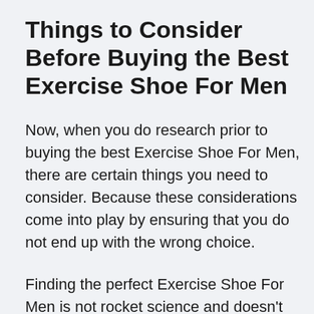Things to Consider Before Buying the Best Exercise Shoe For Men
Now, when you do research prior to buying the best Exercise Shoe For Men, there are certain things you need to consider. Because these considerations come into play by ensuring that you do not end up with the wrong choice.
Finding the perfect Exercise Shoe For Men is not rocket science and doesn't require extensive research